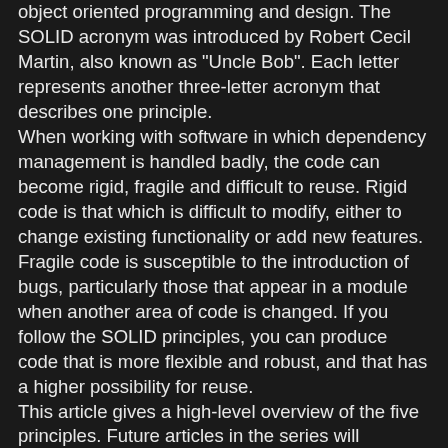object oriented programming and design. The SOLID acronym was introduced by Robert Cecil Martin, also known as "Uncle Bob". Each letter represents another three-letter acronym that describes one principle.
When working with software in which dependency management is handled badly, the code can become rigid, fragile and difficult to reuse. Rigid code is that which is difficult to modify, either to change existing functionality or add new features. Fragile code is susceptible to the introduction of bugs, particularly those that appear in a module when another area of code is changed. If you follow the SOLID principles, you can produce code that is more flexible and robust, and that has a higher possibility for reuse.
This article gives a high-level overview of the five principles. Future articles in the series will describe each principle in more detail and provide examples of their application with C# code.
Single Responsibility Principle(SRP)
The Single Responsibility Principle (SRP) states that there should never be more than one reason for a class to